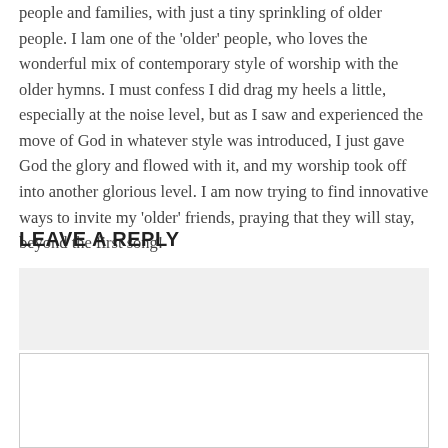people and families, with just a tiny sprinkling of older people. I lam one of the 'older' people, who loves the wonderful mix of contemporary style of worship with the older hymns. I must confess I did drag my heels a little, especially at the noise level, but as I saw and experienced the move of God in whatever style was introduced, I just gave God the glory and flowed with it, and my worship took off into another glorious level. I am now trying to find innovative ways to invite my 'older' friends, praying that they will stay, beyond the first song!
LEAVE A REPLY
Blog token not found.